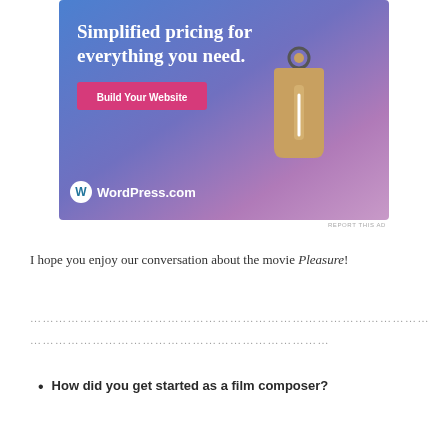[Figure (illustration): WordPress.com advertisement banner with gradient blue-to-pink background, price tag image, headline 'Simplified pricing for everything you need.', pink 'Build Your Website' button, and WordPress.com logo]
REPORT THIS AD
I hope you enjoy our conversation about the movie Pleasure!
……………………………………………………………………………………………………………………………………
…………………………………………………………
How did you get started as a film composer?